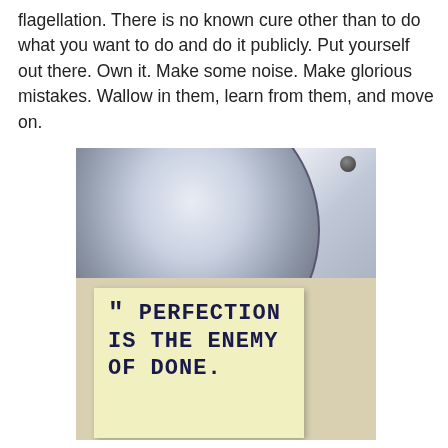flagellation. There is no known cure other than to do what you want to do and do it publicly. Put yourself out there. Own it. Make some noise. Make glorious mistakes. Wallow in them, learn from them, and move on.
[Figure (photo): A photo showing a metallic gong or cymbal in the upper portion, and a yellow sticky note in the lower portion. The sticky note reads: " PERFECTION IS THE ENEMY OF DONE.]